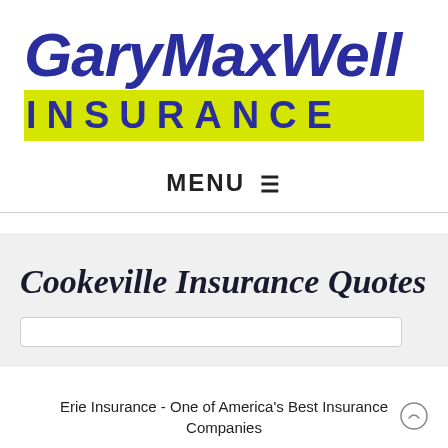[Figure (logo): GaryMaxwell Insurance logo with dark blue italic text on white background and 'INSURANCE' in dark blue bold letters on yellow/green bar]
MENU ☰
Cookeville Insurance Quotes
Erie Insurance - One of America's Best Insurance Companies